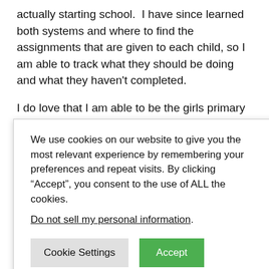actually starting school.  I have since learned both systems and where to find the assignments that are given to each child, so I am able to track what they should be doing and what they haven't completed.
I do love that I am able to be the girls primary influence, and I use our “off time” to do a daily devotional with them.  So we are not only getting a traditional education, but I am able to give them a faith based learning environment!!  They get out of the [house...] also try to make [it...] f the lessons I [teach...] to fall into a [routine...] ing on that this [...] ither other home [...] t by ourselves!!
[Figure (screenshot): Cookie consent popup overlay with text: 'We use cookies on our website to give you the most relevant experience by remembering your preferences and repeat visits. By clicking "Accept", you consent to the use of ALL the cookies.' with a 'Do not sell my personal information.' link and two buttons: 'Cookie Settings' and 'Accept'.]
[...] d new attitude and [...] ome environment better,  and since we now understand the systems and what is